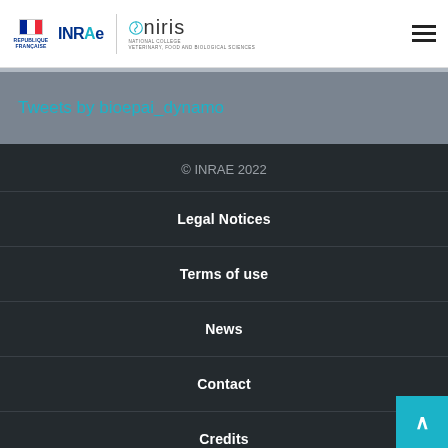REPUBLIQUE FRANÇAISE | INRAE | Oniris
Tweets by bioepai_dynamo
© INRAE 2022
Legal Notices
Terms of use
News
Contact
Credits